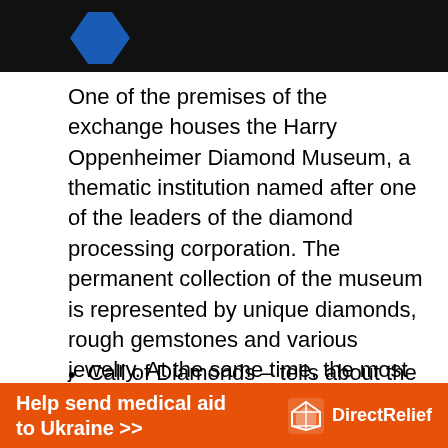[Figure (photo): Dark/black background image at the top with a blue diamond-shaped logo partially visible]
One of the premises of the exchange houses the Harry Oppenheimer Diamond Museum, a thematic institution named after one of the leaders of the diamond processing corporation. The permanent collection of the museum is represented by unique diamonds, rough gemstones and various jewelry. At the same time, the most famous exhibitions include:
Call of Diamonds – tells about the history of mining and methods of processing diamonds, contains
Help send medical aid to Ukraine >> DirectRelief